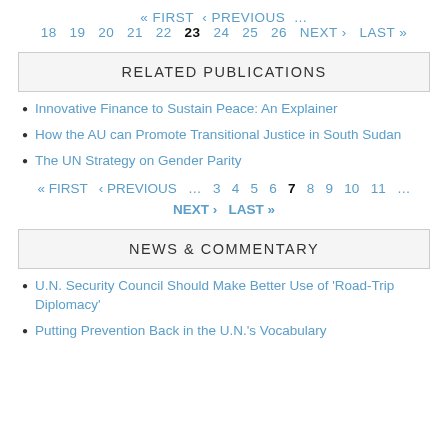« FIRST ‹ PREVIOUS … 18 19 20 21 22 23 24 25 26 NEXT › LAST »
RELATED PUBLICATIONS
Innovative Finance to Sustain Peace: An Explainer
How the AU can Promote Transitional Justice in South Sudan
The UN Strategy on Gender Parity
« FIRST ‹ PREVIOUS … 3 4 5 6 7 8 9 10 11 … NEXT › LAST »
NEWS & COMMENTARY
U.N. Security Council Should Make Better Use of 'Road-Trip Diplomacy'
Putting Prevention Back in the U.N.'s Vocabulary